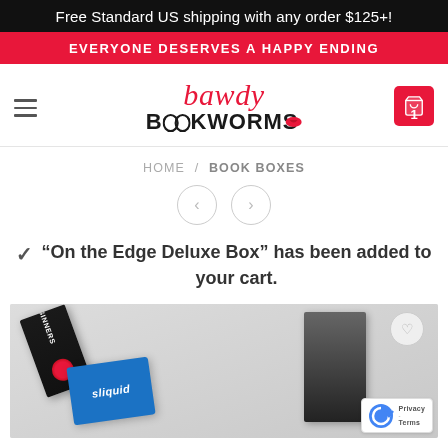Free Standard US shipping with any order $125+!
EVERYONE DESERVES A HAPPY ENDING
[Figure (logo): Bawdy Bookworms logo with script 'bawdy' in red and block 'BOOKWORMS' in black with glasses and lips icons, plus hamburger menu and shopping cart with count 1]
HOME / BOOK BOXES
✓ "On the Edge Deluxe Box" has been added to your cart.
[Figure (photo): Product photo showing book box contents including a black book, a blue sliquid product packet, and a book with a person on the cover, on a light gray background. A heart/wishlist icon overlay appears in the top right corner.]